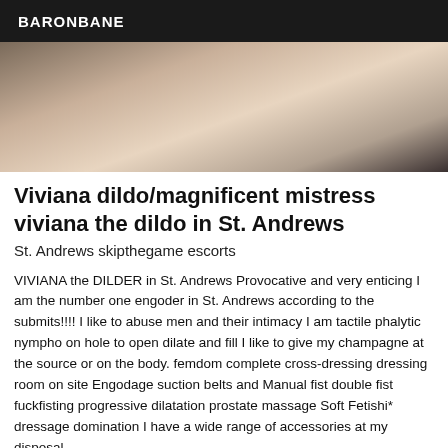BARONBANE
[Figure (photo): Photo of a person lying on a bed wearing black boots and high heels, with accessories visible nearby.]
Viviana dildo/magnificent mistress viviana the dildo in St. Andrews
St. Andrews skipthegame escorts
VIVIANA the DILDER in St. Andrews Provocative and very enticing I am the number one engoder in St. Andrews according to the submits!!!! I like to abuse men and their intimacy I am tactile phalytic nympho on hole to open dilate and fill I like to give my champagne at the source or on the body. femdom complete cross-dressing dressing room on site Engodage suction belts and Manual fist double fist fuckfisting progressive dilatation prostate massage Soft Fetishi* dressage domination I have a wide range of accessories at my disposal.